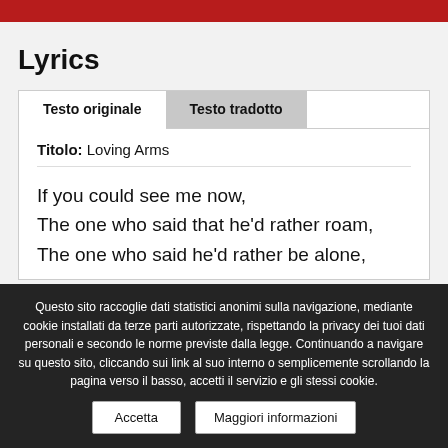Lyrics
Testo originale
Testo tradotto
Titolo: Loving Arms
If you could see me now,
The one who said that he'd rather roam,
The one who said he'd rather be alone,
Questo sito raccoglie dati statistici anonimi sulla navigazione, mediante cookie installati da terze parti autorizzate, rispettando la privacy dei tuoi dati personali e secondo le norme previste dalla legge. Continuando a navigare su questo sito, cliccando sui link al suo interno o semplicemente scrollando la pagina verso il basso, accetti il servizio e gli stessi cookie.
Accetta
Maggiori informazioni